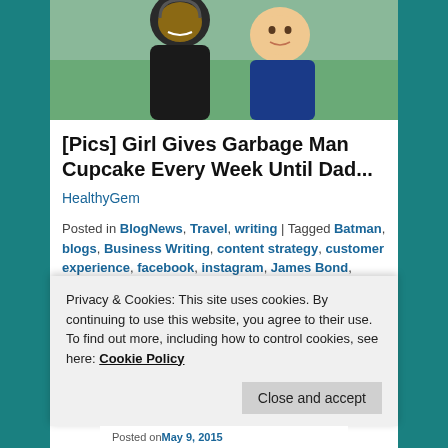[Figure (photo): Photo of two people: an adult and a young child smiling, outdoors with green grass in background]
[Pics] Girl Gives Garbage Man Cupcake Every Week Until Dad...
HealthyGem
Posted in BlogNews, Travel, writing | Tagged Batman, blogs, Business Writing, content strategy, customer experience, facebook, instagram, James Bond, linkedin, tumblr, twitter, U.N.C.L.E. | Leave a reply
Privacy & Cookies: This site uses cookies. By continuing to use this website, you agree to their use.
To find out more, including how to control cookies, see here: Cookie Policy
Close and accept
Posted on May 9, 2015